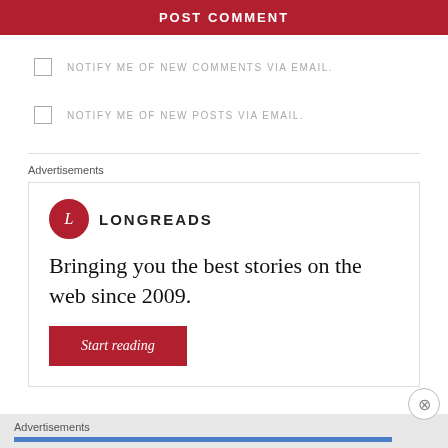POST COMMENT
NOTIFY ME OF NEW COMMENTS VIA EMAIL.
NOTIFY ME OF NEW POSTS VIA EMAIL.
Advertisements
[Figure (illustration): Longreads advertisement with logo (red circle with L), wordmark LONGREADS, tagline 'Bringing you the best stories on the web since 2009.' and a red 'Start reading' button.]
Advertisements